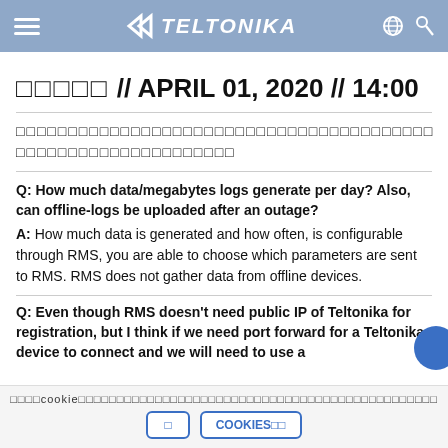TELTONIKA
□□□□□ // APRIL 01, 2020 // 14:00
□□□□□□□□□□□□□□□□□□□□□□□□□□□□□□□□□□□□□□□□□□□□□□□□□□□□□□□□□□□□□□
Q: How much data/megabytes logs generate per day? Also, can offline-logs be uploaded after an outage?
A: How much data is generated and how often, is configurable through RMS, you are able to choose which parameters are sent to RMS. RMS does not gather data from offline devices.
Q: Even though RMS doesn't need public IP of Teltonika for registration, but I think if we need port forward for a Teltonika device to connect and we will need to use a
□□□□cookie□□□□□□□□□□□□□□□□□□□□□□□□□□□□□□□□□□□□□□□□□□□